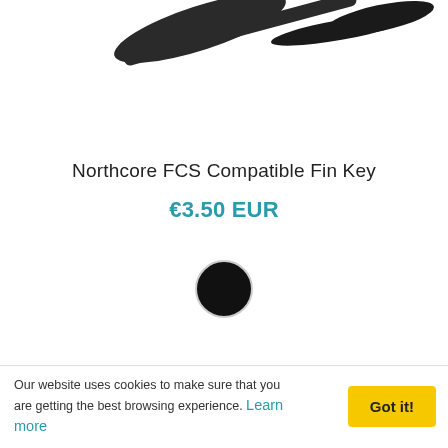[Figure (photo): Top portion of a fin key product photo, showing dark-colored fin key tool, cropped at the bottom]
Northcore FCS Compatible Fin Key
€3.50 EUR
[Figure (other): Black circular color swatch indicating the available color option for the product]
[Figure (photo): Bottom portion of a product image showing a fin key with patterned/textured grip, partially visible]
Our website uses cookies to make sure that you are getting the best browsing experience. Learn more